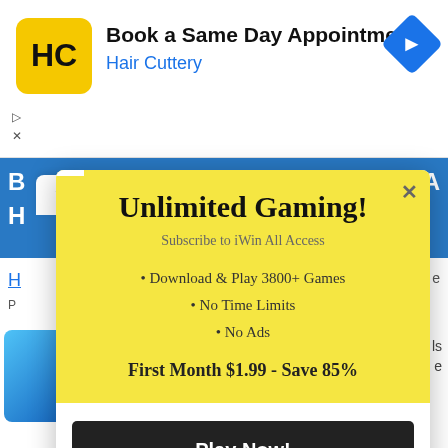[Figure (screenshot): Ad banner for Hair Cuttery showing logo, 'Book a Same Day Appointment' text, and navigation arrow icon]
[Figure (screenshot): Modal popup overlay on a webpage showing iWin All Access gaming subscription offer with yellow background, bullet points, pricing, and Play Now button]
5.0 / 5